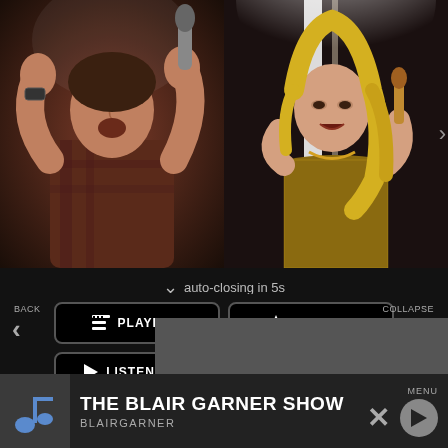[Figure (photo): Two side-by-side photos of country music performers on stage. Left: male singer with eyes closed holding microphone up, wearing plaid shirt. Right: female singer performing with microphone, wearing sparkly gold outfit, blonde hair.]
auto-closing in 5s
BACK
COLLAPSE
PLAYLIST
TOP HITS
LISTEN LIVE
MY VOTES
CONTROLS
Data opt-out
THE BLAIR GARNER SHOW
BLAIRGARNER
MENU